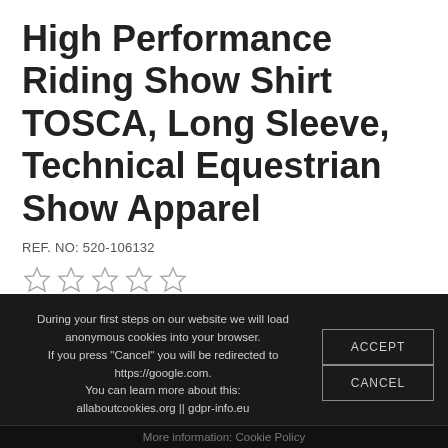High Performance Riding Show Shirt TOSCA, Long Sleeve, Technical Equestrian Show Apparel
REF. NO: 520-106132
[Figure (other): Five empty star rating icons]
79 EUR   tax incl.
During your first steps on our website we will load anonymous cookies into your browser. If you press "Cancel" you will be redirected to https://google.com. You can learn more about this: allaboutcookies.org || gdpr-info.eu
More information: Cookie Policy